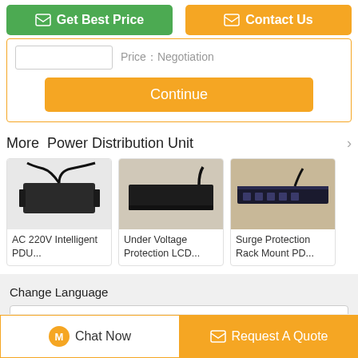[Figure (screenshot): Two buttons: green 'Get Best Price' and orange 'Contact Us']
Price Negotiation
Continue
More  Power Distribution Unit
[Figure (photo): AC 220V Intelligent PDU product image]
AC 220V Intelligent PDU...
[Figure (photo): Under Voltage Protection LCD product image]
Under Voltage Protection LCD...
[Figure (photo): Surge Protection Rack Mount PD product image]
Surge Protection Rack Mount PD...
Change Language
english
Chat Now
Request A Quote